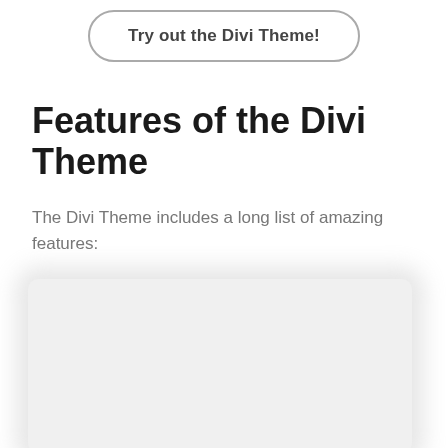[Figure (other): A rounded rectangle button outline with the text 'Try out the Divi Theme!' inside]
Features of the Divi Theme
The Divi Theme includes a long list of amazing features:
[Figure (other): A light gray rounded rectangle placeholder box with a soft shadow, representing an embedded video or image]